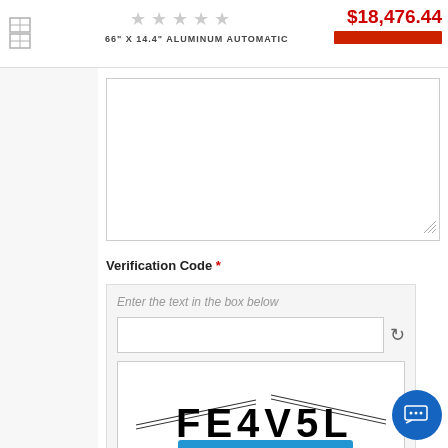[Figure (screenshot): Website header with logo, 5 star rating icons (unfilled/grey), product name '66" X 14.4" ALUMINUM AUTOMATIC', price '$18,476.44' in red, and a red bar below the price]
[Figure (screenshot): Textarea input box for user text entry with resize handle]
Verification Code *
[Figure (screenshot): CAPTCHA widget showing hint text 'Enter the text in the box below', an input field with refresh icon, and a CAPTCHA image displaying 'FE4V5L' with diagonal line decorations]
[Figure (screenshot): Blue Submit button]
[Figure (screenshot): Blue circular chat support button with ellipsis (…) icon in the bottom right corner]